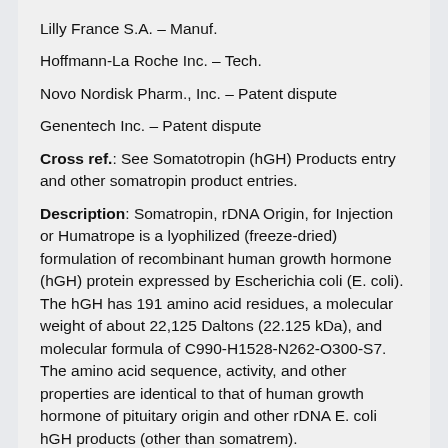Lilly France S.A. – Manuf.
Hoffmann-La Roche Inc. – Tech.
Novo Nordisk Pharm., Inc. – Patent dispute
Genentech Inc. – Patent dispute
Cross ref.: See Somatotropin (hGH) Products entry and other somatropin product entries.
Description: Somatropin, rDNA Origin, for Injection or Humatrope is a lyophilized (freeze-dried) formulation of recombinant human growth hormone (hGH) protein expressed by Escherichia coli (E. coli). The hGH has 191 amino acid residues, a molecular weight of about 22,125 Daltons (22.125 kDa), and molecular formula of C990-H1528-N262-O300-S7. The amino acid sequence, activity, and other properties are identical to that of human growth hormone of pituitary origin and other rDNA E. coli hGH products (other than somatrem).
The reported units of hGH per vial of Humatrope